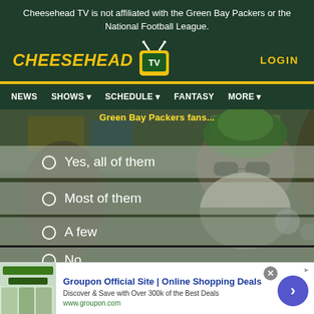Cheesehead TV is not affiliated with the Green Bay Packers or the National Football League.
[Figure (logo): Cheesehead TV logo with yellow text and TV icon with antennas, on dark green background. LOGIN link in gold on right.]
NEWS  SHOWS  SCHEDULE  FANTASY  MORE
[Figure (photo): Green Bay Packers fan with large beard wearing colorful fan gear outdoors, with poll overlay options: Yes, all of them / Most of them / A few / No]
[Figure (screenshot): Advertisement banner: Groupon Official Site | Online Shopping Deals. Discover & Save with Over 300k of the Best Deals. www.groupon.com]